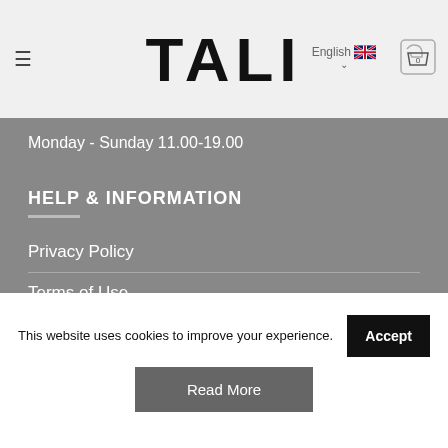TALI — Monday - Sunday 11.00-19.00
HELP & INFORMATION
Privacy Policy
Terms of Use
Delivery & Returns
Payments
FAQ
This website uses cookies to improve your experience.
Accept
Read More